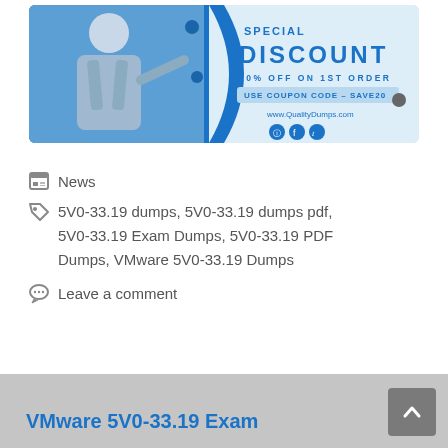[Figure (illustration): Promotional banner for QualityDumps.com. Shows a man in a denim shirt pointing, with text 'SPECIAL DISCOUNT', '20% OFF ON 1ST ORDER', 'USE COUPON CODE – SAVE20', website URL www.QualityDumps.com, and social media icons.]
News
5V0-33.19 dumps, 5V0-33.19 dumps pdf, 5V0-33.19 Exam Dumps, 5V0-33.19 PDF Dumps, VMware 5V0-33.19 Dumps
Leave a comment
VMware 5V0-33.19 Exam